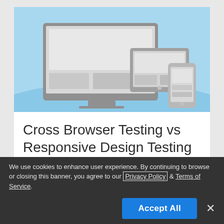[Figure (illustration): Illustration of a desktop monitor, tablet, and smartphone on a light blue background representing cross-browser/responsive design testing across devices.]
Cross Browser Testing vs Responsive Design Testing – what should
We use cookies to enhance user experience. By continuing to browse or closing this banner, you agree to our Privacy Policy & Terms of Service.